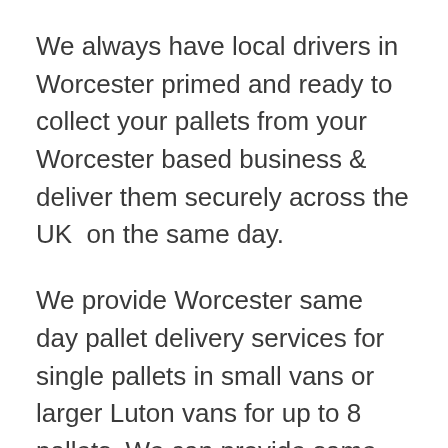We always have local drivers in Worcester primed and ready to collect your pallets from your Worcester based business & deliver them securely across the UK  on the same day.
We provide Worcester same day pallet delivery services for single pallets in small vans or larger Luton vans for up to 8 pallets. We can provide same day deliveries in heavy goods vehicles for larger bulk pallet quantities